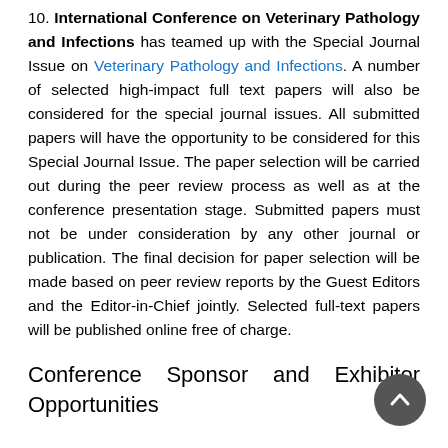10. International Conference on Veterinary Pathology and Infections has teamed up with the Special Journal Issue on Veterinary Pathology and Infections. A number of selected high-impact full text papers will also be considered for the special journal issues. All submitted papers will have the opportunity to be considered for this Special Journal Issue. The paper selection will be carried out during the peer review process as well as at the conference presentation stage. Submitted papers must not be under consideration by any other journal or publication. The final decision for paper selection will be made based on peer review reports by the Guest Editors and the Editor-in-Chief jointly. Selected full-text papers will be published online free of charge.
Conference Sponsor and Exhibitor Opportunities